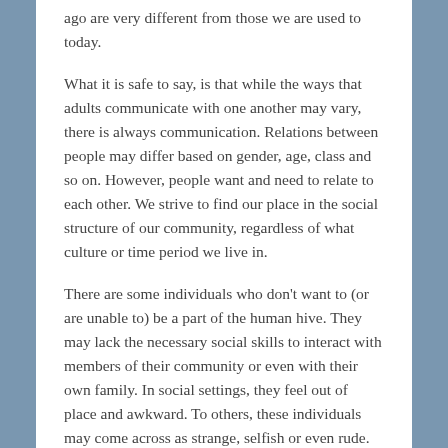ago are very different from those we are used to today.
What it is safe to say, is that while the ways that adults communicate with one another may vary, there is always communication. Relations between people may differ based on gender, age, class and so on. However, people want and need to relate to each other. We strive to find our place in the social structure of our community, regardless of what culture or time period we live in.
There are some individuals who don't want to (or are unable to) be a part of the human hive. They may lack the necessary social skills to interact with members of their community or even with their own family. In social settings, they feel out of place and awkward. To others, these individuals may come across as strange, selfish or even rude.
This behavior is symptomatic of Asperger's syndrome. Some of these adults with aspergers, or adult "Aspies"